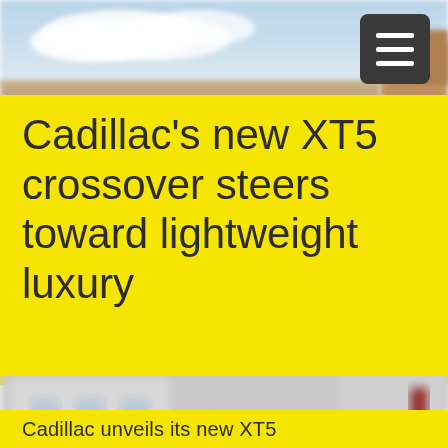[Figure (photo): Top strip showing sky with clouds and desert landscape background, partially blurred]
[Figure (screenshot): Dark gray hamburger menu button with three white horizontal bars, positioned top right]
Cadillac's new XT5 crossover steers toward lightweight luxury
[Figure (photo): Blurred photograph of a dark Cadillac XT5 crossover vehicle on a street with buildings in background]
Cadillac unveils its new XT5